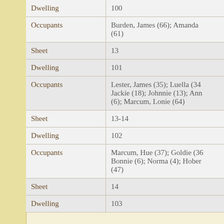| Field | Value |
| --- | --- |
| Dwelling | 100 |
| Occupants | Burden, James (66); Amanda (61) |
| Sheet | 13 |
| Dwelling | 101 |
| Occupants | Lester, James (35); Luella (34); Jackie (18); Johnnie (13); Ann (6); Marcum, Lonie (64) |
| Sheet | 13-14 |
| Dwelling | 102 |
| Occupants | Marcum, Hue (37); Goldie (36); Bonnie (6); Norma (4); Hober (47) |
| Sheet | 14 |
| Dwelling | 103 |